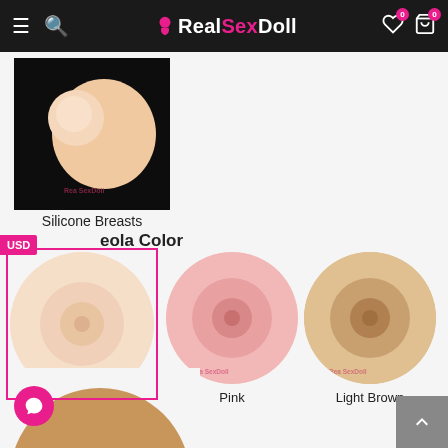RealSexDoll
[Figure (photo): Silicone Breasts product photo showing a side profile view of a breast form on black background]
Silicone Breasts
Areola Color
[Figure (photo): Areola color option: Natural - light skin tone circular breast form viewed from front]
Natural
[Figure (photo): Areola color option: Pink - pink toned circular breast form viewed from front]
Pink
[Figure (photo): Areola color option: Light Brown - tan/beige toned circular breast form viewed from front]
Light Brown
[Figure (photo): Bottom partial view of a darker skin tone breast form, partially visible at bottom of page]